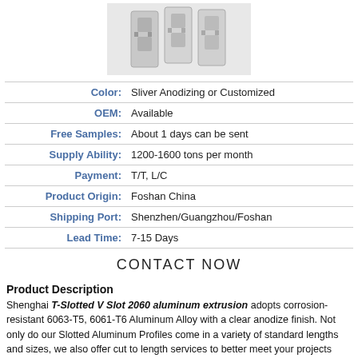[Figure (photo): T-Slotted V Slot 2060 aluminum extrusion profile product photo showing silver anodized aluminum channel sections]
| Color: | Sliver Anodizing or Customized |
| OEM: | Available |
| Free Samples: | About 1 days can be sent |
| Supply Ability: | 1200-1600 tons per month |
| Payment: | T/T, L/C |
| Product Origin: | Foshan China |
| Shipping Port: | Shenzhen/Guangzhou/Foshan |
| Lead Time: | 7-15 Days |
CONTACT NOW
Product Description
Shenghai T-Slotted V Slot 2060 aluminum extrusion adopts corrosion-resistant 6063-T5, 6061-T6 Aluminum Alloy with a clear anodize finish. Not only do our Slotted Aluminum Profiles come in a variety of standard lengths and sizes, we also offer cut to length services to better meet your projects specific needs. Shenghai Slots are also available in smooth and grooved profiles and a variety of colors.
Product Details